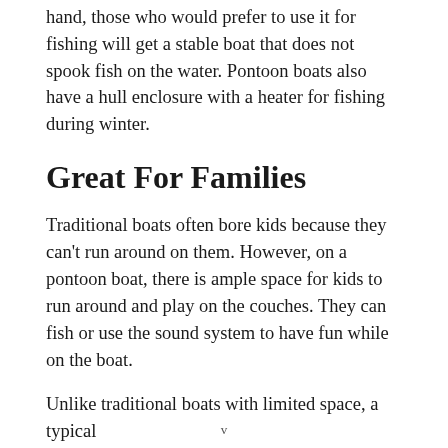hand, those who would prefer to use it for fishing will get a stable boat that does not spook fish on the water. Pontoon boats also have a hull enclosure with a heater for fishing during winter.
Great For Families
Traditional boats often bore kids because they can’t run around on them. However, on a pontoon boat, there is ample space for kids to run around and play on the couches. They can fish or use the sound system to have fun while on the boat.
Unlike traditional boats with limited space, a typical
v